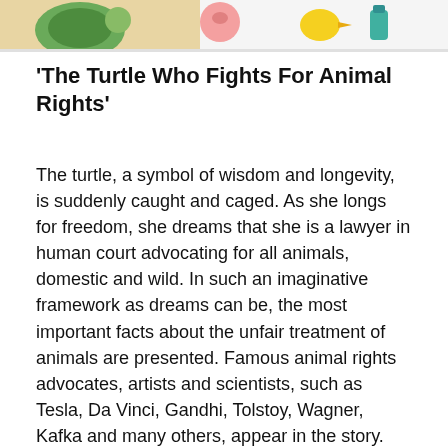[Figure (illustration): Colorful cartoon illustration of animal characters including a turtle and other animals, partially visible at the top of the page.]
'The Turtle Who Fights For Animal Rights'
The turtle, a symbol of wisdom and longevity, is suddenly caught and caged. As she longs for freedom, she dreams that she is a lawyer in human court advocating for all animals, domestic and wild. In such an imaginative framework as dreams can be, the most important facts about the unfair treatment of animals are presented. Famous animal rights advocates, artists and scientists, such as Tesla, Da Vinci, Gandhi, Tolstoy, Wagner, Kafka and many others, appear in the story.